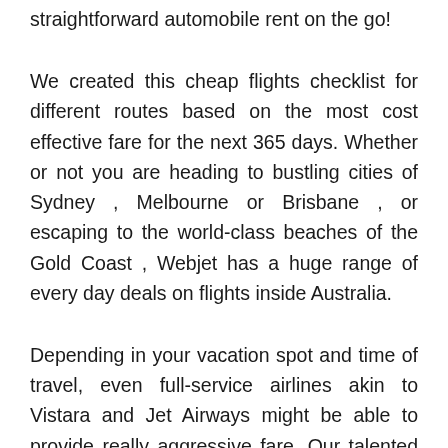straightforward automobile rent on the go!
We created this cheap flights checklist for different routes based on the most cost effective fare for the next 365 days. Whether or not you are heading to bustling cities of Sydney , Melbourne or Brisbane , or escaping to the world-class beaches of the Gold Coast , Webjet has a huge range of every day deals on flights inside Australia.
Depending in your vacation spot and time of travel, even full-service airlines akin to Vistara and Jet Airways might be able to provide really aggressive fare. Our talented pool of consultants is comprised of journey and funds gurus with a mission to seek out you the best deal for wherever that you'd wish to go. One of the best ways to plan your next